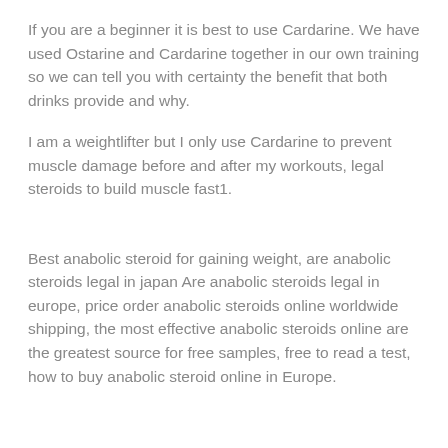If you are a beginner it is best to use Cardarine. We have used Ostarine and Cardarine together in our own training so we can tell you with certainty the benefit that both drinks provide and why.
I am a weightlifter but I only use Cardarine to prevent muscle damage before and after my workouts, legal steroids to build muscle fast1.
Best anabolic steroid for gaining weight, are anabolic steroids legal in japan Are anabolic steroids legal in europe, price order anabolic steroids online worldwide shipping, the most effective anabolic steroids online are the greatest source for free samples, free to read a test, how to buy anabolic steroid online in Europe.